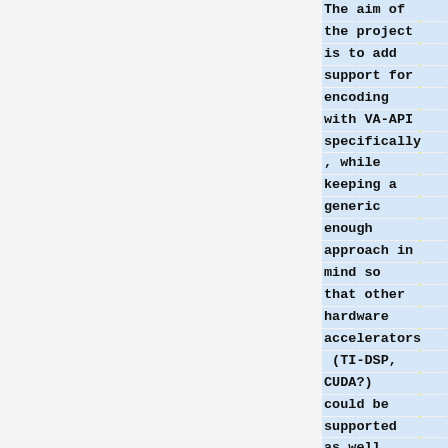The aim of the project is to add support for encoding with VA-API specifically, while keeping a generic enough approach in mind so that other hardware accelerators (TI-DSP, CUDA?) could be supported as well. This means